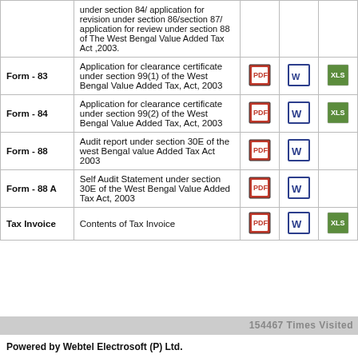| Form | Description | PDF | Word | Excel |
| --- | --- | --- | --- | --- |
|  | under section 84/ application for revision under section 86/section 87/ application for review under section 88 of The West Bengal Value Added Tax Act ,2003. |  |  |  |
| Form - 83 | Application for clearance certificate under section 99(1) of the West Bengal Value Added Tax, Act, 2003 | PDF | Word | Excel |
| Form - 84 | Application for clearance certificate under section 99(2) of the West Bengal Value Added Tax, Act, 2003 | PDF | Word | Excel |
| Form - 88 | Audit report under section 30E of the west Bengal value Added Tax Act 2003 | PDF | Word |  |
| Form - 88 A | Self Audit Statement under section 30E of the West Bengal Value Added Tax Act, 2003 | PDF | Word |  |
| Tax Invoice | Contents of Tax Invoice | PDF | Word | Excel |
154467 Times Visited
Powered by Webtel Electrosoft (P) Ltd.